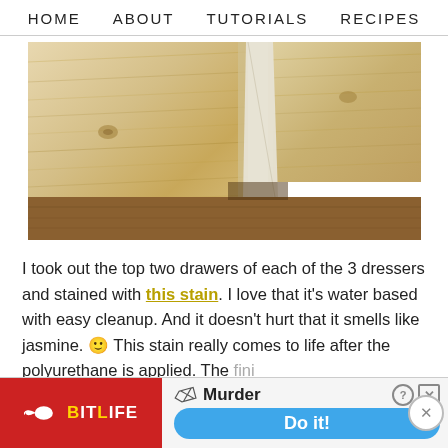HOME   ABOUT   TUTORIALS   RECIPES
[Figure (photo): Close-up photo of light pine wood boards/drawers with wood grain visible, showing a corner joint with tape or a white card placed across the seam. A darker wood dresser is visible in the lower right corner.]
I took out the top two drawers of each of the 3 dressers and stained with this stain. I love that it's water based with easy cleanup. And it doesn't hurt that it smells like jasmine. 🙂 This stain really comes to life after the polyurethane is applied. The fini... yet...
[Figure (screenshot): Advertisement banner for BitLife game showing red background with BitLife logo on left, and Murder / Do it! call-to-action on the right with a blue button. A dismiss X button appears on the far right.]